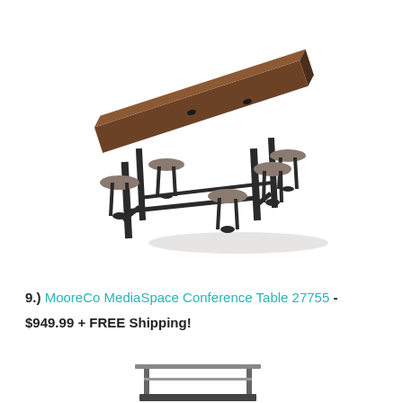[Figure (photo): MooreCo MediaSpace Conference Table 27755 with dark wood top, black metal frame, and multiple attached round stools/seats on both sides]
9.) MooreCo MediaSpace Conference Table 27755 - $949.99 + FREE Shipping!
[Figure (photo): Partial view of another product, appearing to be a stand or rack with metal frame, visible at bottom of page]